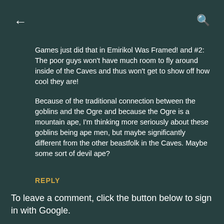← (back) 🔍 (search)
Games just did that in Emirikol Was Framed! and #2: The poor guys won't have much room to fly around inside of the Caves and thus won't get to show off how cool they are!
Because of the traditional connection between the goblins and the Ogre and because the Ogre is a mountain ape, I'm thinking more seriously about these goblins being ape men, but maybe significantly different from the other beastfolk in the Caves. Maybe some sort of devil ape?
REPLY
To leave a comment, click the button below to sign in with Google.